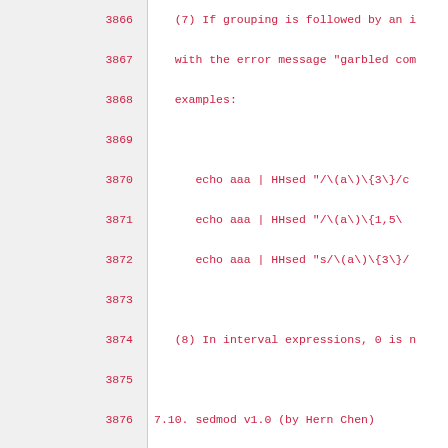3866    (7) If grouping is followed by an i
3867        with the error message "garbled com
3868        examples:
3869
3870            echo aaa | HHsed "/\(a\)\{3\}/c
3871            echo aaa | HHsed "/\(a\)\{1,5\
3872            echo aaa | HHsed "s/\(a\)\{3\}/
3873
3874        (8) In interval expressions, 0 is n
3875
3876    7.10. sedmod v1.0 (by Hern Chen)
3877
3878        Technically, the following are limi
3879        bugs, since the docs for sedmod do
3880        missing features.
3881
3882        (1) sedmod does not support standar
3883        present in nearly all versions of s
3884
3885        (2) If grouping is followed by an '
3886        a "garbled command" message. Howeve
3887        are strings literals with no metach
3888        can be done like so:
3889
3890            \(string\)\1*    # matches 1 or